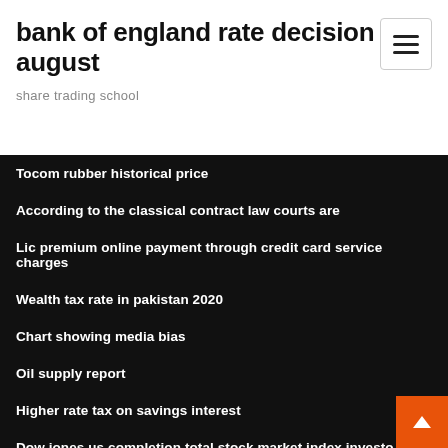bank of england rate decision august
share trading school
Tocom rubber historical price
According to the classical contract law courts are
Lic premium online payment through credit card service charges
Wealth tax rate in pakistan 2020
Chart showing media bias
Oil supply report
Higher rate tax on savings interest
Dow jones us completion total stock market index investo
How to tender for contracts template